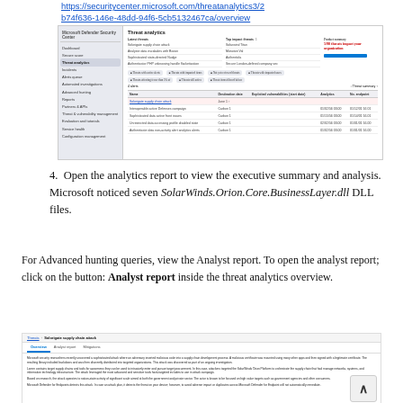https://securitycenter.microsoft.com/threatanalytics3/2b74f636-146e-48dd-94f6-5cb5132467ca/overview
[Figure (screenshot): Microsoft Defender Security Center Threat Analytics dashboard screenshot showing list of threats, impact summary, and a table of threat entries with one highlighted row.]
4. Open the analytics report to view the executive summary and analysis. Microsoft noticed seven SolarWinds.Orion.Core.BusinessLayer.dll DLL files.
For Advanced hunting queries, view the Analyst report. To open the analyst report; click on the button: Analyst report inside the threat analytics overview.
[Figure (screenshot): Screenshot of threat analytics overview page for Solorigate supply chain attack, showing Overview, Analyst report, and Mitigations tabs, with paragraph text about the attack.]